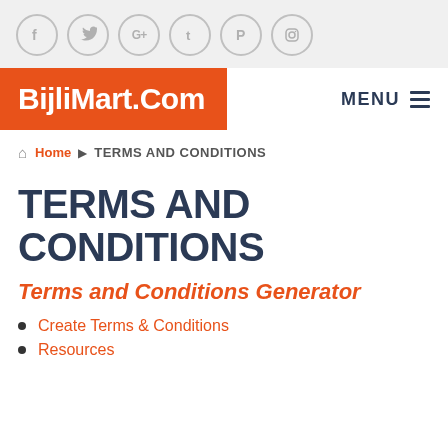Social icons: f, Twitter, G+, t, Pinterest, Instagram
BijliMart.Com
MENU
Home ▶ TERMS AND CONDITIONS
TERMS AND CONDITIONS
Terms and Conditions Generator
Create Terms & Conditions
Resources